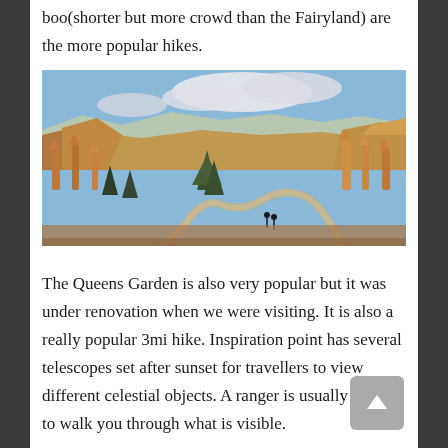boo(shorter but more crowd than the Fairyland) are the more popular hikes.
[Figure (photo): Panoramic landscape photo of Bryce Canyon showing orange-red hoodoos, pine trees, winding dirt trail with hikers, and blue sky with clouds in the background.]
The Queens Garden is also very popular but it was under renovation when we were visiting. It is also a really popular 3mi hike. Inspiration point has several telescopes set after sunset for travellers to view different celestial objects. A ranger is usually present to walk you through what is visible.